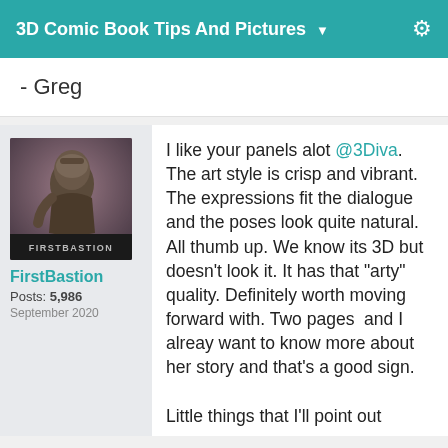3D Comic Book Tips And Pictures
- Greg
[Figure (photo): Avatar image of FirstBastion showing a stone/bronze warrior figure, with 'FIRSTBASTION' text label at the bottom]
FirstBastion
Posts: 5,986
September 2020
I like your panels alot @3Diva. The art style is crisp and vibrant. The expressions fit the dialogue and the poses look quite natural. All thumb up. We know its 3D but doesn't look it. It has that "arty" quality. Definitely worth moving forward with. Two pages  and I alreay want to know more about her story and that's a good sign.
Little things that I'll point out